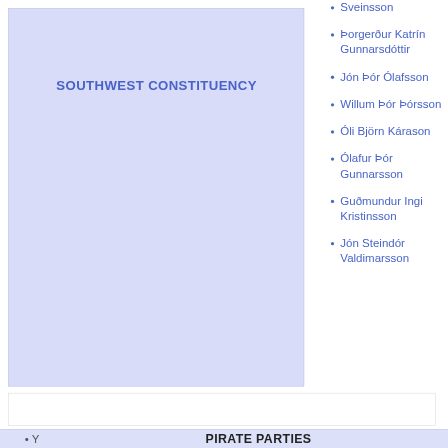[Figure (map): Blue shaded region labeled SOUTHWEST CONSTITUENCY]
Sveinsson
Þorgerður Katrín Gunnarsdóttir
Jón Þór Ólafsson
Willum Þór Þórsson
Óli Björn Kárason
Ólafur Þór Gunnarsson
Guðmundur Ingi Kristinsson
Jón Steindór Valdimarsson
PIRATE PARTIES